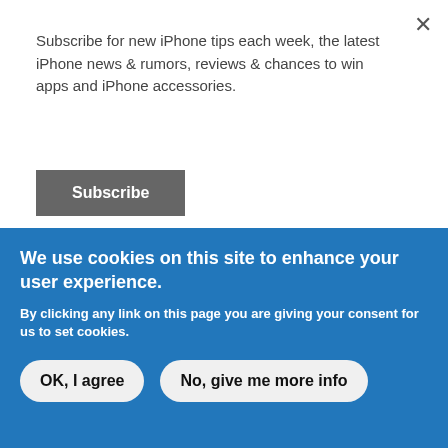Subscribe for new iPhone tips each week, the latest iPhone news & rumors, reviews & chances to win apps and iPhone accessories.
Subscribe
Great! You are absolute an expert! Cheer!!!
rob replied on September 19, 2009 -
We use cookies on this site to enhance your user experience.
By clicking any link on this page you are giving your consent for us to set cookies.
OK, I agree
No, give me more info